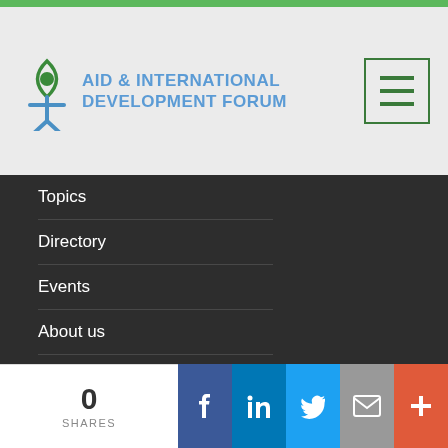[Figure (logo): Aid & International Development Forum logo with eye/person icon in green and blue]
Topics
Directory
Events
About us
Contact us
Newsletters
Advertise
Topics
0 SHARES | Facebook | LinkedIn | Twitter | Email | +